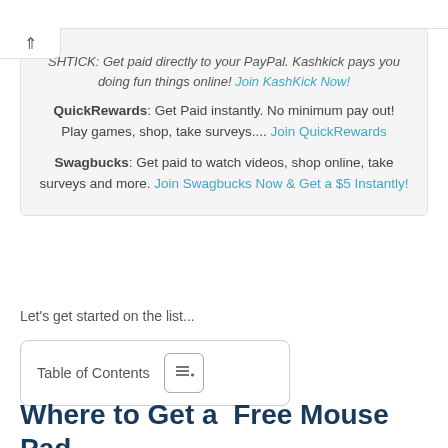SHTICK: Get paid directly to your PayPal. Kashkick pays you doing fun things online! Join KashKick Now!
QuickRewards: Get Paid instantly. No minimum pay out! Play games, shop, take surveys.... Join QuickRewards
Swagbucks: Get paid to watch videos, shop online, take surveys and more. Join Swagbucks Now & Get a $5 Instantly!
Let's get started on the list...
Table of Contents
Where to Get a  Free Mouse Pad